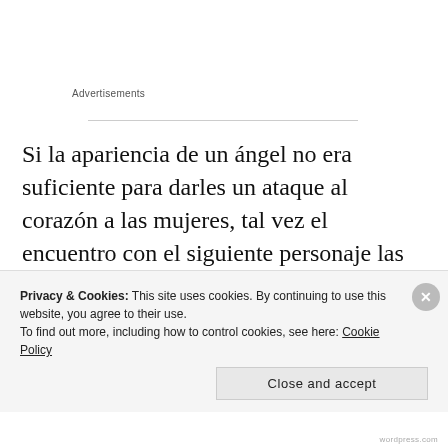Advertisements
Si la apariencia de un ángel no era suficiente para darles un ataque al corazón a las mujeres, tal vez el encuentro con el siguiente personaje las iba a poner en un estado de shock.
Privacy & Cookies: This site uses cookies. By continuing to use this website, you agree to their use. To find out more, including how to control cookies, see here: Cookie Policy
Close and accept